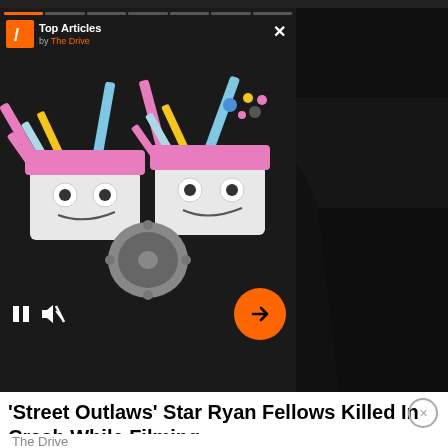[Figure (screenshot): Video player panel showing animated engine illustration (V8 engine with colorful pistons in pink/blue/yellow on dark background). Shows 'Top Articles by The Drive' branding, progress bars across top, pause and mute controls at bottom left, orange circular arrow button at bottom right.]
Hear This Absurdly Accurate Homebrew Engine Sim Rev a Chevy Big Block
[Figure (photo): Dark-toned photo of a man wearing a black hoodie, face partially in shadow, looking slightly downward. Text partially visible on hoodie: 'TH... STRACE']
'Street Outlaws' Star Ryan Fellows Killed In Crash While Filming
The Drive